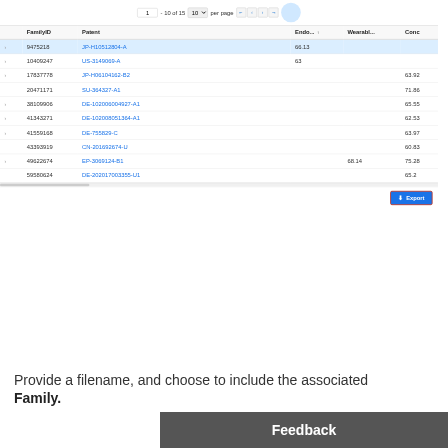[Figure (screenshot): Patent search results table showing FamilyID, Patent, Endo., Wearabl., Conc. columns with 10 rows of patent data, pagination controls showing 1-10 of 15, and an Export button highlighted with a red border.]
Provide a filename, and choose to include the associated
Family.